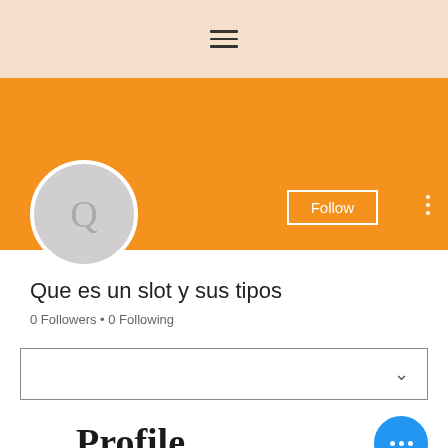[Figure (screenshot): Beige top navigation bar with hamburger menu icon (three horizontal lines)]
[Figure (screenshot): Orange profile banner/cover photo area]
[Figure (illustration): Circular avatar placeholder with letter Q in gray]
Follow
Que es un slot y sus tipos
0 Followers • 0 Following
[Figure (screenshot): Dropdown selector box with chevron arrow]
Profile
Join date: May 15, 2022